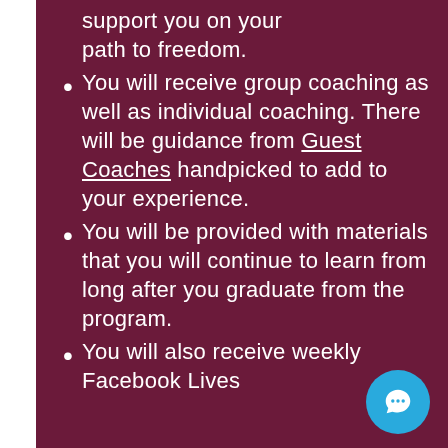support you on your path to freedom.
You will receive group coaching as well as individual coaching. There will be guidance from Guest Coaches handpicked to add to your experience.
You will be provided with materials that you will continue to learn from long after you graduate from the program.
You will also receive weekly Facebook Lives